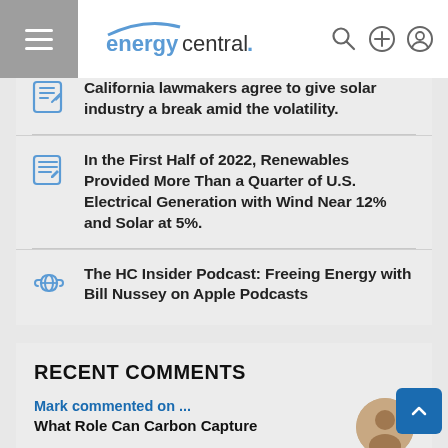energycentral.
California lawmakers agree to give solar industry a break amid the volatility.
In the First Half of 2022, Renewables Provided More Than a Quarter of U.S. Electrical Generation with Wind Near 12% and Solar at 5%.
The HC Insider Podcast: Freeing Energy with Bill Nussey on Apple Podcasts
RECENT COMMENTS
Mark commented on ...
What Role Can Carbon Capture